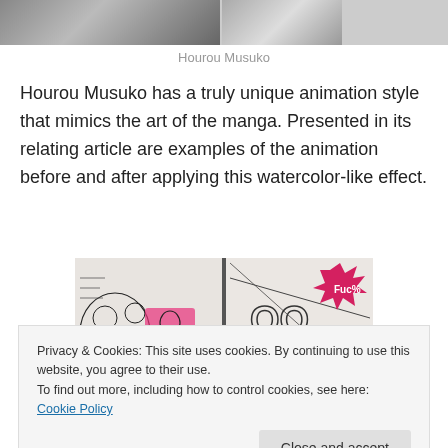[Figure (photo): Top portion of a photo showing Hourou Musuko imagery, partially cropped at top of page]
Hourou Musuko
Hourou Musuko has a truly unique animation style that mimics the art of the manga. Presented in its relating article are examples of the animation before and after applying this watercolor-like effect.
[Figure (photo): A manga book open to a spread showing black and white manga art with some pink/magenta highlights, featuring crowd scenes and action]
Privacy & Cookies: This site uses cookies. By continuing to use this website, you agree to their use.
To find out more, including how to control cookies, see here: Cookie Policy
Close and accept